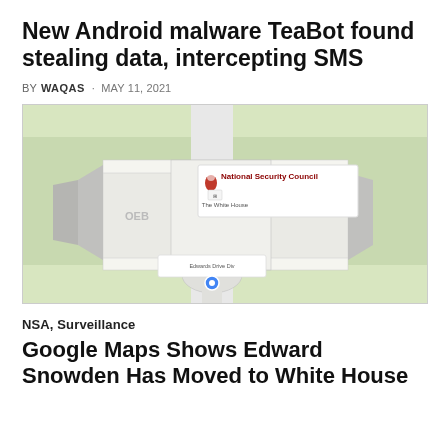New Android malware TeaBot found stealing data, intercepting SMS
BY WAQAS · MAY 11, 2021
[Figure (map): Google Maps screenshot showing the National Security Council location near The White House, with a red map pin marker labeled 'National Security Council' and a secondary marker for 'Edwards Drive Div']
NSA, Surveillance
Google Maps Shows Edward Snowden Has Moved to White House